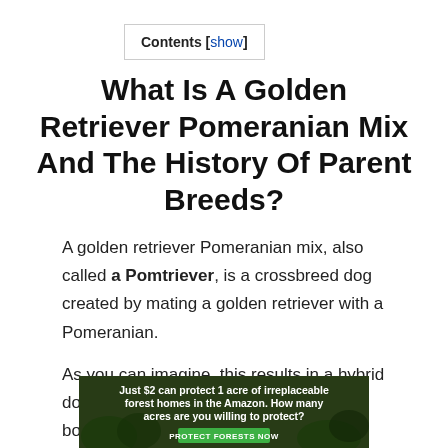Contents [show]
What Is A Golden Retriever Pomeranian Mix And The History Of Parent Breeds?
A golden retriever Pomeranian mix, also called a Pomtriever, is a crossbreed dog created by mating a golden retriever with a Pomeranian.
As you can imagine, this results in a hybrid dog that combines the best qualities of both its parent breeds. The golden retriever is known for
[Figure (other): Advertisement banner: 'Just $2 can protect 1 acre of irreplaceable forest homes in the Amazon. How many acres are you willing to protect?' with a green PROTECT FORESTS NOW button, overlaid on a dark forest background image.]